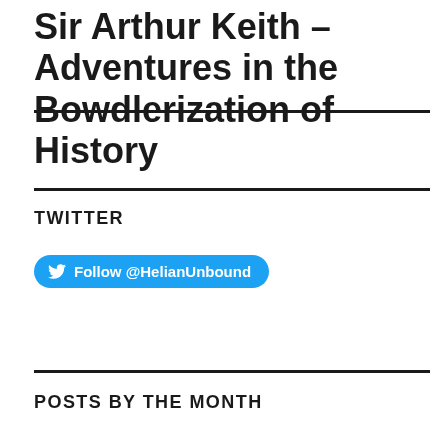Sir Arthur Keith – Adventures in the Bowdlerization of History
TWITTER
Follow @HelianUnbound
POSTS BY THE MONTH